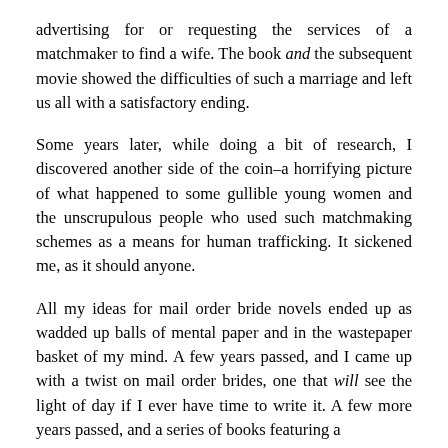advertising for or requesting the services of a matchmaker to find a wife. The book and the subsequent movie showed the difficulties of such a marriage and left us all with a satisfactory ending.
Some years later, while doing a bit of research, I discovered another side of the coin–a horrifying picture of what happened to some gullible young women and the unscrupulous people who used such matchmaking schemes as a means for human trafficking. It sickened me, as it should anyone.
All my ideas for mail order bride novels ended up as wadded up balls of mental paper and in the wastepaper basket of my mind. A few years passed, and I came up with a twist on mail order brides, one that will see the light of day if I ever have time to write it. A few more years passed, and a series of books featuring a